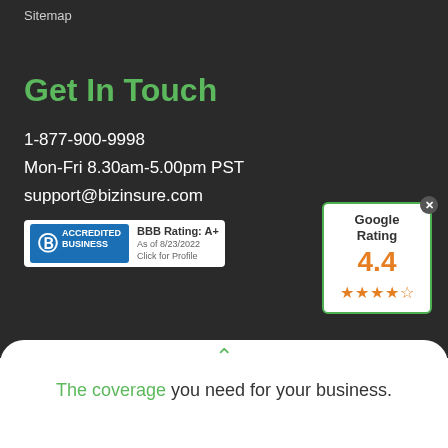Sitemap
Get In Touch
1-877-900-9998
Mon-Fri 8.30am-5.00pm PST
support@bizinsure.com
[Figure (logo): BBB Accredited Business badge with BBB Rating: A+ as of 8/23/2022, Click for Profile]
[Figure (infographic): Google Rating 4.4 with 4.4 out of 5 stars shown]
The coverage you need for your business.